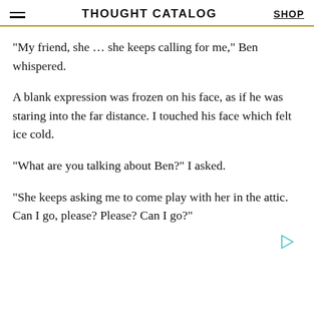THOUGHT CATALOG | SHOP
“My friend, she … she keeps calling for me,” Ben whispered.
A blank expression was frozen on his face, as if he was staring into the far distance. I touched his face which felt ice cold.
“What are you talking about Ben?” I asked.
“She keeps asking me to come play with her in the attic. Can I go, please? Please? Can I go?”